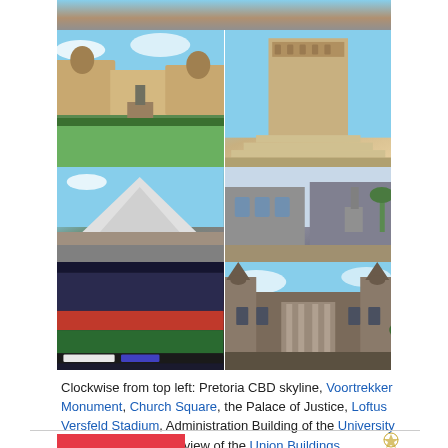[Figure (photo): Collage of Pretoria landmarks: top strip showing skyline, then Union Buildings and Voortrekker Monument side by side, University of Pretoria Administration Building and Church Square with statue, Loftus Versfeld Stadium and Palace of Justice.]
Clockwise from top left: Pretoria CBD skyline, Voortrekker Monument, Church Square, the Palace of Justice, Loftus Versfeld Stadium, Administration Building of the University of Pretoria and Front view of the Union Buildings.